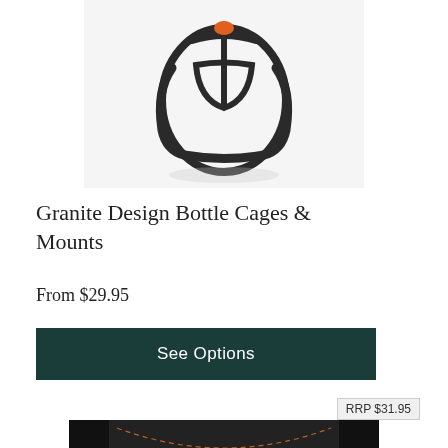[Figure (photo): Granite Design black bicycle bottle cage with orange accent, viewed from above on white background]
Granite Design Bottle Cages & Mounts
From $29.95
See Options
RRP $31.95
[Figure (photo): Granite branded black fabric pouch/tool bag with orange stitching and white Granite logo label]